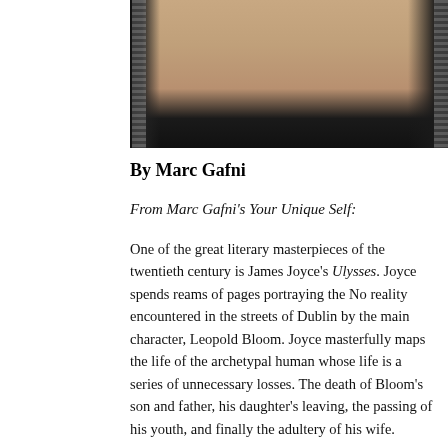[Figure (photo): Partial photo of a person wearing a dark jacket with a zipper, showing the lower neck/chin area, cropped at the top.]
By Marc Gafni
From Marc Gafni's Your Unique Self:
One of the great literary masterpieces of the twentieth century is James Joyce's Ulysses. Joyce spends reams of pages portraying the No reality encountered in the streets of Dublin by the main character, Leopold Bloom. Joyce masterfully maps the life of the archetypal human whose life is a series of unnecessary losses. The death of Bloom's son and father, his daughter's leaving, the passing of his youth, and finally the adultery of his wife.